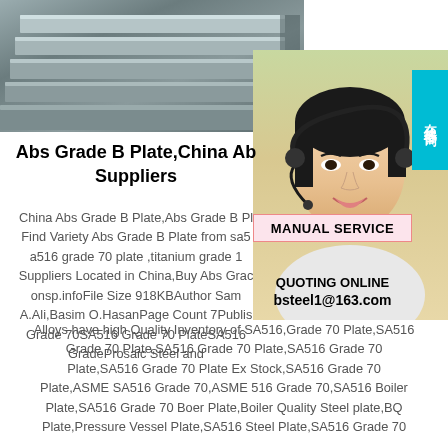[Figure (photo): Photo of stacked steel plates/sheets from above at an angle, showing metallic grey surfaces]
[Figure (photo): Photo of a smiling Asian woman wearing a headset, customer service representative, with Chinese characters badge reading 在线咨询 and MANUAL SERVICE / QUOTING ONLINE / bsteel1@163.com overlay]
Abs Grade B Plate,China Abs Grade B Plate Suppliers
China Abs Grade B Plate,Abs Grade B Plate Find Variety Abs Grade B Plate from sa516 a516 grade 70 plate ,titanium grade 1 Suppliers Located in China,Buy Abs Grade onsp.infoFile Size 918KBAuthor Sam A.Ali,Basim O.HasanPage Count 7Publish Grade 70SA516 Grade 70 PlateSA516 GradeProsaic Steel and Alloys have high Quality Inventory of SA516,Grade 70 Plate,SA516 Grade 70 Plate,SA516 Grade 70 Plate,SA516 Grade 70 Plate,SA516 Grade 70 Plate Ex Stock,SA516 Grade 70 Plate,ASME SA516 Grade 70,ASME 516 Grade 70,SA516 Boiler Plate,SA516 Grade 70 Boer Plate,Boiler Quality Steel plate,BQ Plate,Pressure Vessel Plate,SA516 Steel Plate,SA516 Grade 70